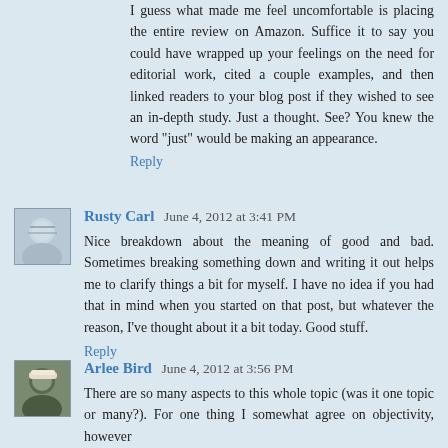I guess what made me feel uncomfortable is placing the entire review on Amazon. Suffice it to say you could have wrapped up your feelings on the need for editorial work, cited a couple examples, and then linked readers to your blog post if they wished to see an in-depth study. Just a thought. See? You knew the word "just" would be making an appearance.
Reply
Rusty Carl  June 4, 2012 at 3:41 PM
Nice breakdown about the meaning of good and bad. Sometimes breaking something down and writing it out helps me to clarify things a bit for myself. I have no idea if you had that in mind when you started on that post, but whatever the reason, I've thought about it a bit today. Good stuff.
Reply
Arlee Bird  June 4, 2012 at 3:56 PM
There are so many aspects to this whole topic (was it one topic or many?). For one thing I somewhat agree on objectivity, however